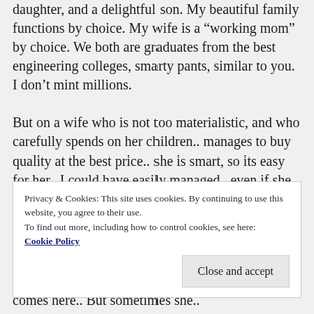daughter, and a delightful son. My beautiful family functions by choice. My wife is a “working mom” by choice. We both are graduates from the best engineering colleges, smarty pants, similar to you. I don’t mint millions.
But on a wife who is not too materialistic, and who carefully spends on her children.. manages to buy quality at the best price.. she is smart, so its easy for her.. I could have easily managed , even if she stayed home. She is also very financially savvy, so even if she did not work, I could get some highly positive financial output
Privacy & Cookies: This site uses cookies. By continuing to use this website, you agree to their use.
To find out more, including how to control cookies, see here: Cookie Policy
to my wife, by my hearty advise, mostly income comes here.. But sometimes she..